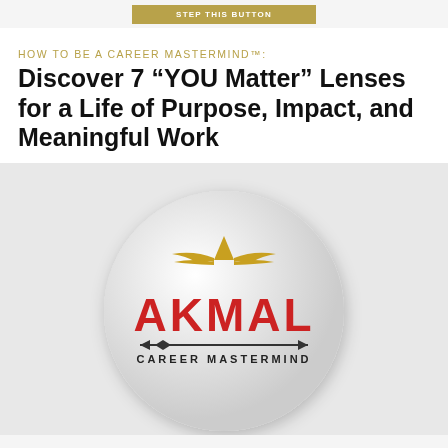STEP THIS BUTTON
HOW TO BE A CAREER MASTERMIND™:
Discover 7 “YOU Matter” Lenses for a Life of Purpose, Impact, and Meaningful Work
[Figure (logo): Akmal Career Mastermind logo: circular badge with gold wing/triangle emblem above red bold AKMAL text and arrow beneath with CAREER MASTERMIND text]